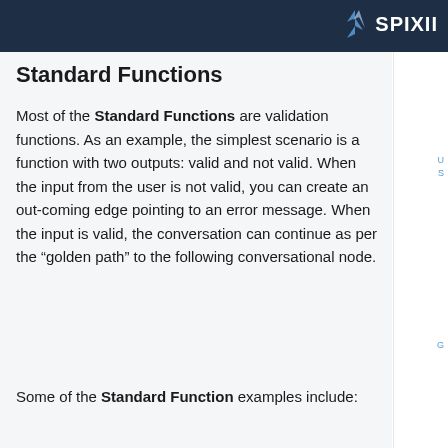SPIXII
Standard Functions
Most of the Standard Functions are validation functions. As an example, the simplest scenario is a function with two outputs: valid and not valid. When the input from the user is not valid, you can create an out-coming edge pointing to an error message. When the input is valid, the conversation can continue as per the “golden path” to the following conversational node.
Some of the Standard Function examples include: